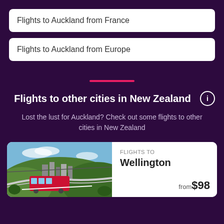Flights to Auckland from France
Flights to Auckland from Europe
Flights to other cities in New Zealand
Lost the lust for Auckland? Check out some flights to other cities in New Zealand
FLIGHTS TO
Wellington
from $98